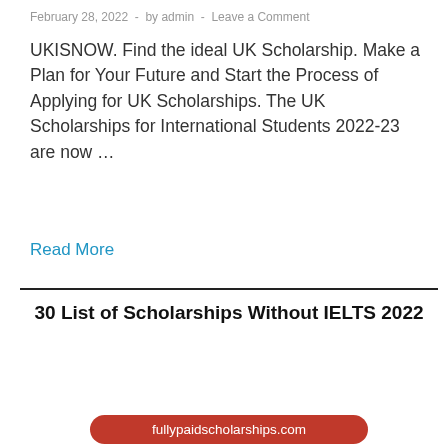February 28, 2022 - by admin - Leave a Comment
UKISNOW. Find the ideal UK Scholarship. Make a Plan for Your Future and Start the Process of Applying for UK Scholarships. The UK Scholarships for International Students 2022-23 are now ...
Read More
30 List of Scholarships Without IELTS 2022
[Figure (infographic): Red rounded banner pills showing: Bachelor, Master,and Ph.D Degree / Fully Funded / Apply Now! with a flag mosaic image on the right]
fullypaidscholarships.com